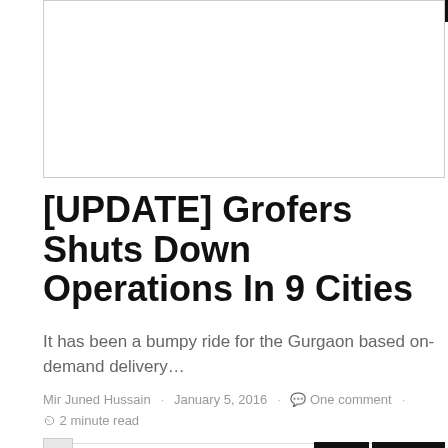[Figure (other): Advertisement placeholder box (white rectangle with border)]
[UPDATE] Grofers Shuts Down Operations In 9 Cities
It has been a bumpy ride for the Gurgaon based on-demand delivery…
Mir Juned Hussain · January 5, 2016 · One comment · 2 minute read
[Figure (other): Small image icon at bottom left]
News   Startups